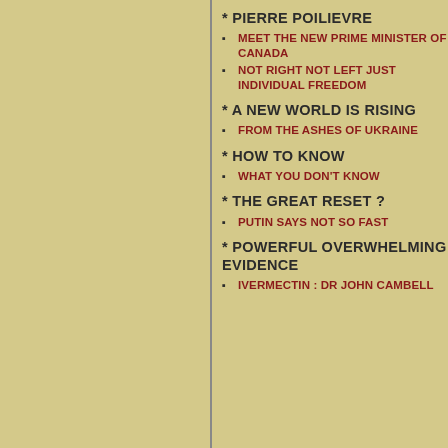* PIERRE POILIEVRE
MEET THE NEW PRIME MINISTER OF CANADA
NOT RIGHT NOT LEFT JUST INDIVIDUAL FREEDOM
* A NEW WORLD IS RISING
FROM THE ASHES OF UKRAINE
* HOW TO KNOW
WHAT YOU DON'T KNOW
* THE GREAT RESET ?
PUTIN SAYS NOT SO FAST
* POWERFUL OVERWHELMING EVIDENCE
IVERMECTIN : DR JOHN CAMBELL